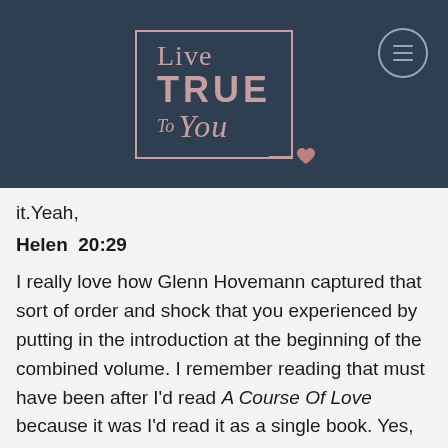[Figure (logo): Live True To You logo with pink/mauve text and border on dark blue background, with hamburger menu icon in top right]
it. Yeah,
Helen  20:29
I really love how Glenn Hovemann captured that sort of order and shock that you experienced by putting in the introduction at the beginning of the combined volume. I remember reading that must have been after I'd read A Course Of Love because it was I'd read it as a single book. Yes, yeah. So for the listeners who don't know this book, A Course Of Love now as we refer to it typically means the combined volume, which has three is it three books or four in one